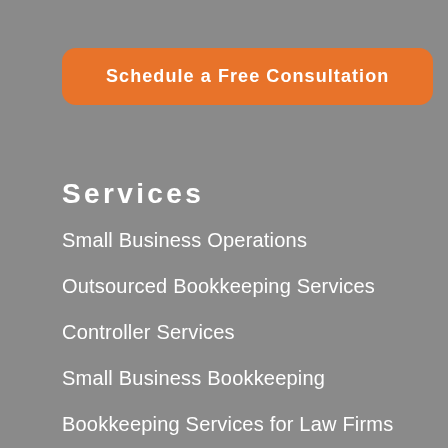[Figure (other): Orange rounded rectangle button with text 'Schedule a Free Consultation']
Services
Small Business Operations
Outsourced Bookkeeping Services
Controller Services
Small Business Bookkeeping
Bookkeeping Services for Law Firms
Bookkeeping Services for Healthcare Practices
Bookkeeping Services for Nonprofits